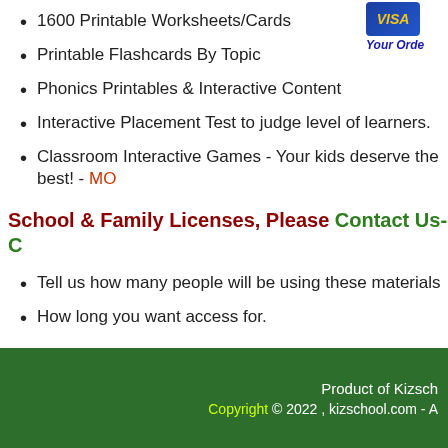[Figure (other): Visa card logo with 'Your Orde' text (partially visible)]
1600 Printable Worksheets/Cards
Printable Flashcards By Topic
Phonics Printables & Interactive Content
Interactive Placement Test to judge level of learners.
Classroom Interactive Games - Your kids deserve the best! - MO
School & Family Licenses, Please Contact Us- C
Tell us how many people will be using these materials
How long you want access for.
Product of Kizsch
Copyright © 2022 , kizschool.com - A